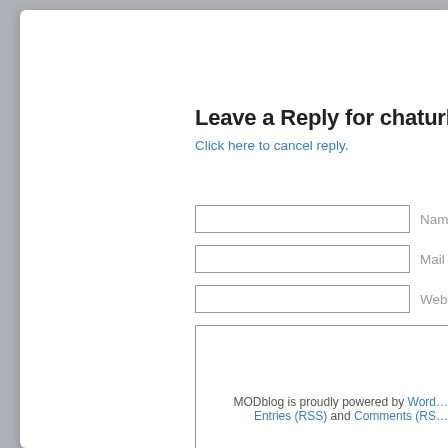Leave a Reply for chaturbate token adde
Click here to cancel reply.
Name
Mail (will not be publish…
Website
MODblog is proudly powered by Word… Entries (RSS) and Comments (RS…